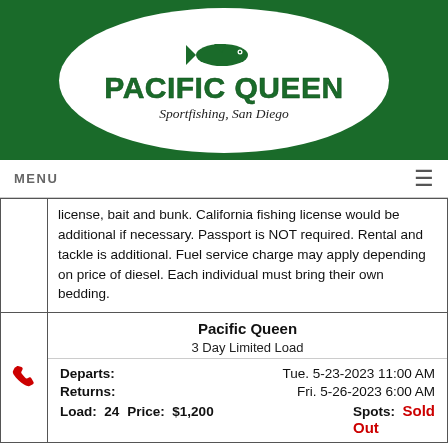[Figure (logo): Pacific Queen Sportfishing San Diego logo with green oval background, fish silhouette, and stylized text]
MENU
license, bait and bunk. California fishing license would be additional if necessary. Passport is NOT required. Rental and tackle is additional. Fuel service charge may apply depending on price of diesel. Each individual must bring their own bedding.
| Pacific Queen | 3 Day Limited Load |
| --- | --- |
| Departs: | Tue. 5-23-2023 11:00 AM |
| Returns: | Fri. 5-26-2023 6:00 AM |
| Load: 24 | Price: $1,200 | Spots: Sold Out |